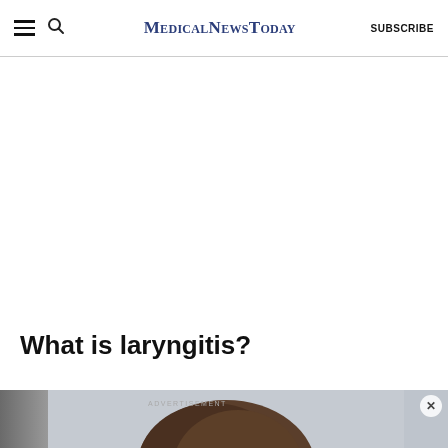MedicalNewsToday | SUBSCRIBE
What is laryngitis?
[Figure (photo): Partial view of a person's head and hair, serving as background for an advertisement overlay. Close-up of brown hair against a light gray background.]
ADVERTISEMENT